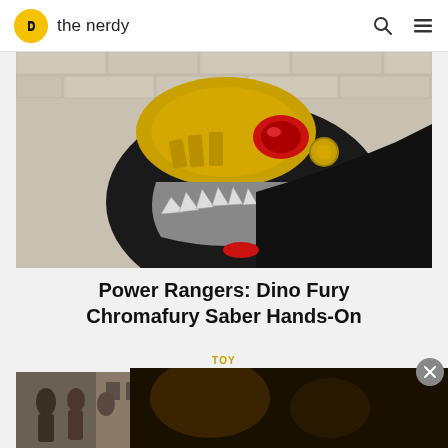the nerdy
[Figure (photo): Close-up of a Power Rangers Dino Fury Chromafury Saber toy — a black and gold dinosaur head with red eye and silver teeth, set against a white brick wall.]
Power Rangers: Dino Fury Chromafury Saber Hands-On
TOY
[Figure (photo): Group of young people standing outside a building — a TV show scene.]
[Figure (screenshot): Video player overlay showing 'PEACOCK'S THE RESORT SERIES IS HEADING TO PRIMETIME NBC' with playback controls.]